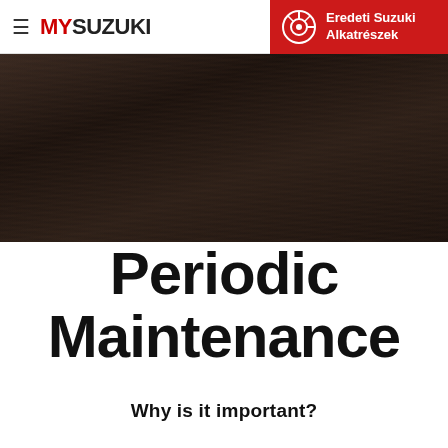≡ MYSUZUKI
[Figure (logo): Eredeti Suzuki Alkatrészek red banner with brake disc icon]
[Figure (photo): Dark wood-textured brown/black blurred background image]
Periodic Maintenance
Why is it important?